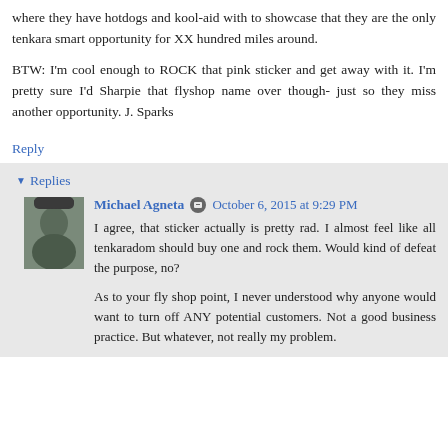where they have hotdogs and kool-aid with to showcase that they are the only tenkara smart opportunity for XX hundred miles around.
BTW: I'm cool enough to ROCK that pink sticker and get away with it. I'm pretty sure I'd Sharpie that flyshop name over though- just so they miss another opportunity. J. Sparks
Reply
Replies
Michael Agneta  October 6, 2015 at 9:29 PM
I agree, that sticker actually is pretty rad. I almost feel like all tenkaradom should buy one and rock them. Would kind of defeat the purpose, no?
As to your fly shop point, I never understood why anyone would want to turn off ANY potential customers. Not a good business practice. But whatever, not really my problem.